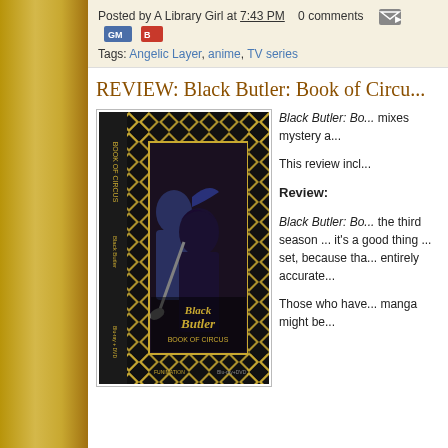Posted by A Library Girl at 7:43 PM   0 comments
Tags: Angelic Layer, anime, TV series
REVIEW: Black Butler: Book of Circu...
[Figure (photo): Book/DVD box set cover of Black Butler: Book of Circus, featuring anime characters on a black and gold diamond-patterned background with the title in stylized text.]
Black Butler: Bo... mixes mystery a...
This review incl...
Review:
Black Butler: Bo... the third season ... it's a good thing ... set, because tha... entirely accurate...
Those who have... manga might be...